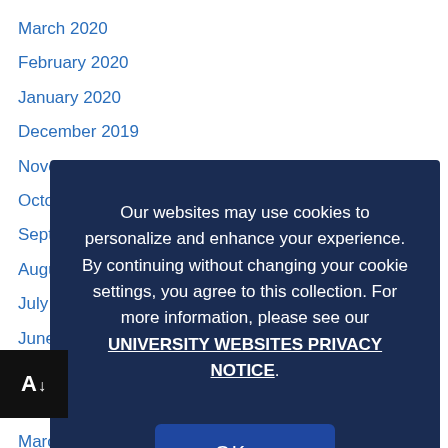March 2020
February 2020
January 2020
December 2019
November 2019
October 2019
September 2019
August 2019
July 2019
June 2019
May 2019
April 2019
March 2019
February 2019
January 2019
Our websites may use cookies to personalize and enhance your experience. By continuing without changing your cookie settings, you agree to this collection. For more information, please see our UNIVERSITY WEBSITES PRIVACY NOTICE.
OK ✓